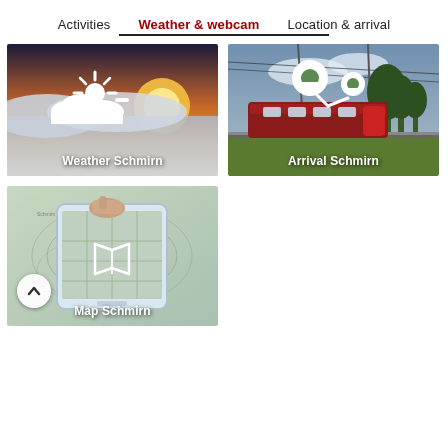Activities  Weather & webcam  Location & arrival
[Figure (photo): Photo of sunrise/sunset with clouds below, overlaid with a white cloud-with-sun weather icon and text 'Weather Schmirn']
[Figure (photo): Photo of a red train on tracks with trees, overlaid with two white map pin icons and text 'Arrival Schmirn']
[Figure (photo): Photo of hands holding a smartphone over a paper map, overlaid with a white map/book icon and text 'Map Schmirn'. A back/scroll button is visible at bottom left.]